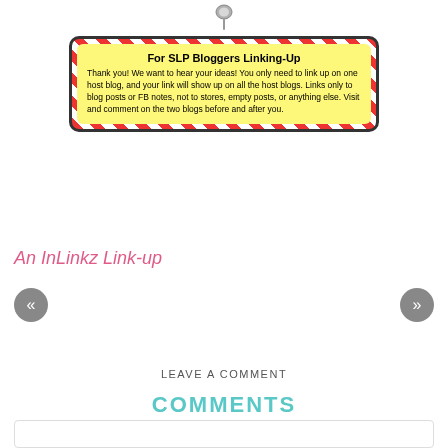[Figure (infographic): A decorative notice box with red/white diagonal stripe border and yellow background, pinned at top with a thumbtack icon. Title: 'For SLP Bloggers Linking-Up'. Text about linking up rules.]
For SLP Bloggers Linking-Up
Thank you! We want to hear your ideas! You only need to link up on one host blog, and your link will show up on all the host blogs. Links only to blog posts or FB notes, not to stores, empty posts, or anything else. Visit and comment on the two blogs before and after you.
An InLinkz Link-up
«
»
LEAVE A COMMENT
COMMENTS
ASHLEY ROSSI/SWEET